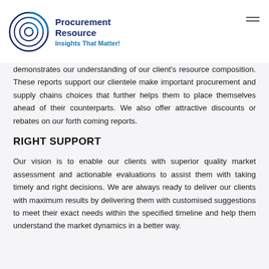Procurement Resource
Insights That Matter!
demonstrates our understanding of our client's resource composition. These reports support our clientele make important procurement and supply chains choices that further helps them to place themselves ahead of their counterparts. We also offer attractive discounts or rebates on our forth coming reports.
RIGHT SUPPORT
Our vision is to enable our clients with superior quality market assessment and actionable evaluations to assist them with taking timely and right decisions. We are always ready to deliver our clients with maximum results by delivering them with customised suggestions to meet their exact needs within the specified timeline and help them understand the market dynamics in a better way.